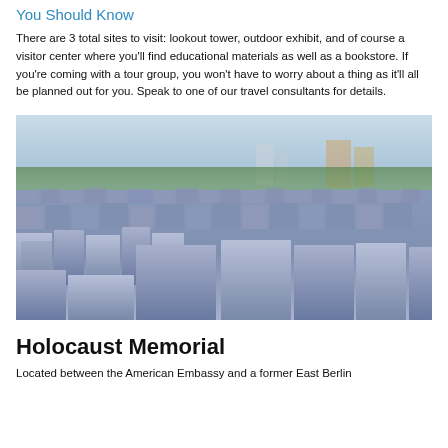You Should Know
There are 3 total sites to visit: lookout tower, outdoor exhibit, and of course a visitor center where you'll find educational materials as well as a bookstore. If you're coming with a tour group, you won't have to worry about a thing as it'll all be planned out for you. Speak to one of our travel consultants for details.
[Figure (photo): Photograph of the Holocaust Memorial in Berlin showing rows of grey concrete stelae (rectangular stone blocks) of varying heights, with trees and city skyline visible in the background under an overcast sky.]
Holocaust Memorial
Located between the American Embassy and a former East Berlin